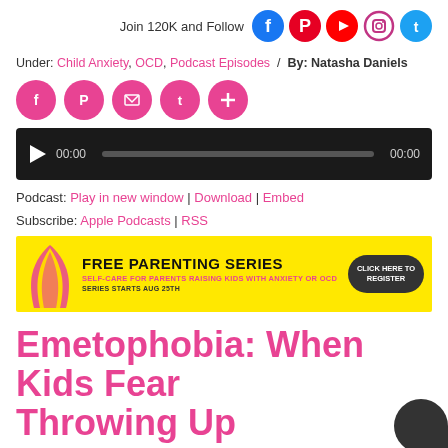Join 120K and Follow [Facebook] [Pinterest] [YouTube] [Instagram] [Twitter]
Under: Child Anxiety, OCD, Podcast Episodes / By: Natasha Daniels
[Figure (infographic): Social share buttons: Facebook, Pinterest, Email, Twitter, Plus]
[Figure (infographic): Audio player with play button, 00:00 time, progress bar, 00:00 end time]
Podcast: Play in new window | Download | Embed
Subscribe: Apple Podcasts | RSS
[Figure (infographic): Free Parenting Series banner - Self-care for parents raising kids with anxiety or OCD - Series starts Aug 25th - Click here to register]
Emetophobia: When Kids Fear Throwing Up